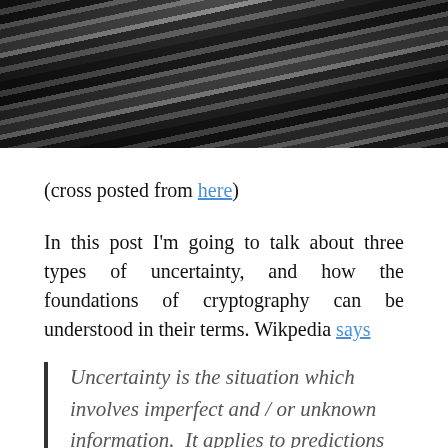[Figure (photo): Black and white photograph of converging railway tracks viewed from above at an angle, with scattered leaves or debris visible between the rails.]
(cross posted from here)
In this post I'm going to talk about three types of uncertainty, and how the foundations of cryptography can be understood in their terms. Wikpedia says
Uncertainty is the situation which involves imperfect and / or unknown information. It applies to predictions of future events, to physical measurements that are already made, or to the unknown